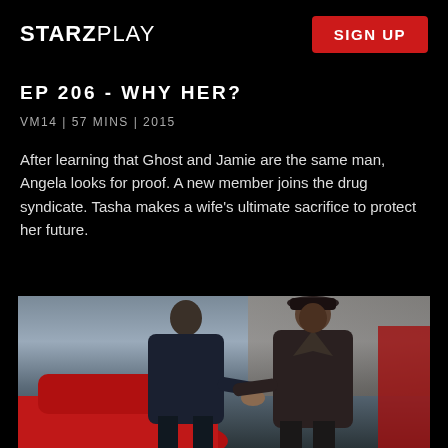STARZPLAY  SIGN UP
EP 206 - WHY HER?
VM14 | 57 MINS | 2015
After learning that Ghost and Jamie are the same man, Angela looks for proof. A new member joins the drug syndicate. Tasha makes a wife's ultimate sacrifice to protect her future.
[Figure (photo): Two men facing each other in a street scene, one wearing a dark coat and the other wearing a leather jacket and hat, with a red car visible in the background.]